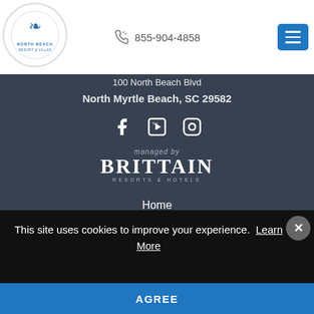[Figure (logo): North Beach Resort & Villas circular logo with stylized wave/figure icon in blue]
855-904-4858
[Figure (illustration): Hamburger menu button (three horizontal lines) on blue background]
100 North Beach Blvd
North Myrtle Beach, SC 29582
[Figure (illustration): Social media icons: Facebook, YouTube, Instagram]
[Figure (logo): managed by BRITTAIN RESORTS & HOTELS logo in white on dark background]
Home
Accommodations
This site uses cookies to improve your experience. Learn More
AGREE